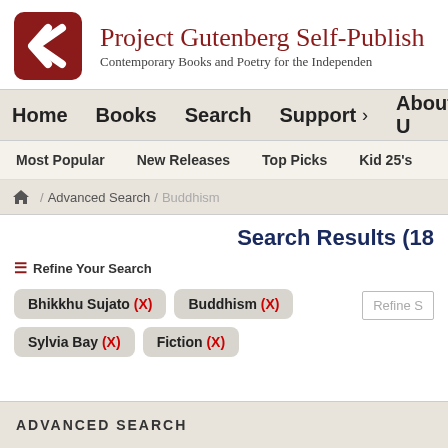[Figure (logo): Project Gutenberg Self-Publishing logo — red rounded square with white G letter mark]
Project Gutenberg Self-Publish
Contemporary Books and Poetry for the Independen
Home  Books  Search  Support >  About U
Most Popular  New Releases  Top Picks  Kid 25's
Advanced Search / Buddhism
Search Results (18
Refine Your Search
Bhikkhu Sujato (X)
Buddhism (X)
Sylvia Bay (X)
Fiction (X)
Refine S
ADVANCED SEARCH